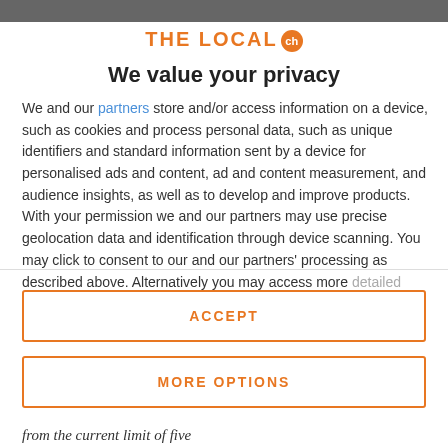[Figure (logo): The Local ch logo with orange text and orange circular badge with 'ch']
We value your privacy
We and our partners store and/or access information on a device, such as cookies and process personal data, such as unique identifiers and standard information sent by a device for personalised ads and content, ad and content measurement, and audience insights, as well as to develop and improve products. With your permission we and our partners may use precise geolocation data and identification through device scanning. You may click to consent to our and our partners' processing as described above. Alternatively you may access more detailed information and change your preferences before consenting
ACCEPT
MORE OPTIONS
from the current limit of five